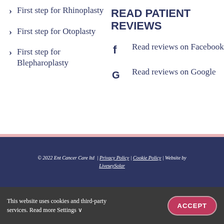First step for Rhinoplasty
First step for Otoplasty
First step for Blepharoplasty
READ PATIENT REVIEWS
Read reviews on Facebook
Read reviews on Google
© 2022 Ent Cancer Care ltd | Privacy Policy | Cookie Policy | Website by LiveseySolar
This website uses cookies and third-party services. Read more Settings